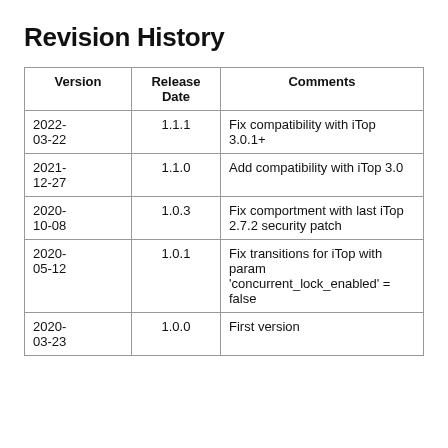Revision History
| Version | Release Date | Comments |
| --- | --- | --- |
| 2022-03-22 | 1.1.1 | Fix compatibility with iTop 3.0.1+ |
| 2021-12-27 | 1.1.0 | Add compatibility with iTop 3.0 |
| 2020-10-08 | 1.0.3 | Fix comportment with last iTop 2.7.2 security patch |
| 2020-05-12 | 1.0.1 | Fix transitions for iTop with param 'concurrent_lock_enabled' = false |
| 2020-03-23 | 1.0.0 | First version |